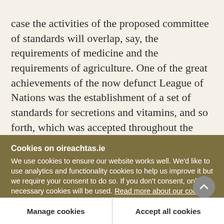case the activities of the proposed committee of standards will overlap, say, the requirements of medicine and the requirements of agriculture. One of the great achievements of the now defunct League of Nations was the establishment of a set of standards for secretions and vitamins, and so forth, which was accepted throughout the world and was of tremendous use in clarifying the situation. Our committee of standards will have to face this sort of problem. With regard to tuberculin coming into this
Cookies on oireachtas.ie
We use cookies to ensure our website works well. We'd like to use analytics and functionality cookies to help us improve it but we require your consent to do so. If you don't consent, only necessary cookies will be used. Read more about our cookies
Manage cookies
Accept all cookies